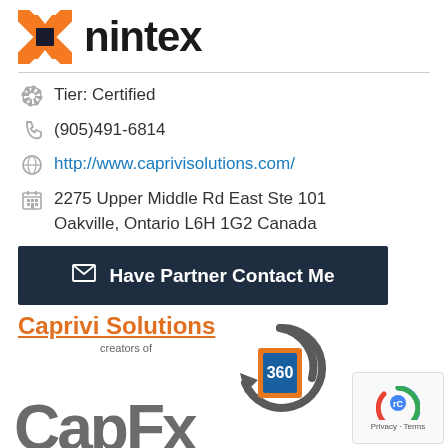[Figure (logo): Nintex logo with orange X icon and black nintex text]
Tier: Certified
(905)491-6814
http://www.caprivisolutions.com/
2275 Upper Middle Rd East Ste 101 Oakville, Ontario L6H 1G2 Canada
Have Partner Contact Me
[Figure (logo): Caprivi Solutions creators of CapFx 360 logo with circular arrows and building icon]